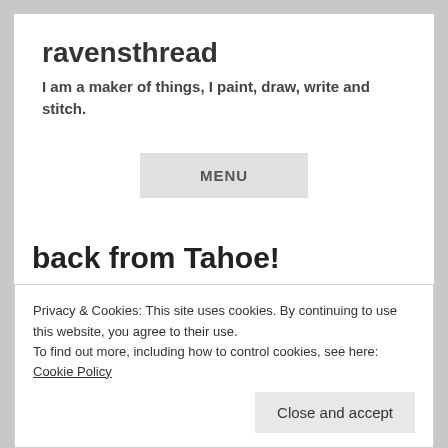ravensthread
I am a maker of things, I paint, draw, write and stitch.
MENU
back from Tahoe!
Privacy & Cookies: This site uses cookies. By continuing to use this website, you agree to their use.
To find out more, including how to control cookies, see here: Cookie Policy
Close and accept